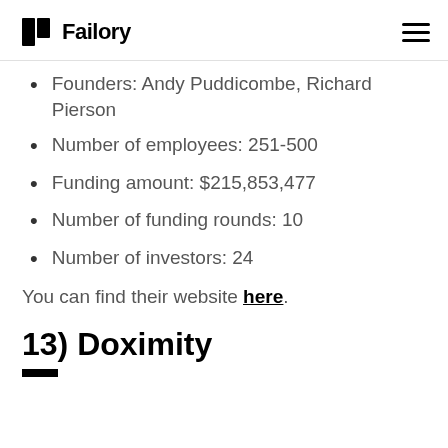Failory
Founders: Andy Puddicombe, Richard Pierson
Number of employees: 251-500
Funding amount: $215,853,477
Number of funding rounds: 10
Number of investors: 24
You can find their website here.
13) Doximity